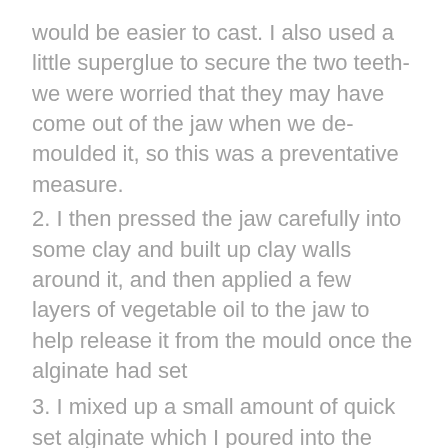would be easier to cast. I also used a little superglue to secure the two teeth- we were worried that they may have come out of the jaw when we de-moulded it, so this was a preventative measure.
2. I then pressed the jaw carefully into some clay and built up clay walls around it, and then applied a few layers of vegetable oil to the jaw to help release it from the mould once the alginate had set
3. I mixed up a small amount of quick set alginate which I poured into the clay mould and left to set
4. Once this had set I carefully removed the clay and rinsed the jaw and alginate, before greasing it up with more oil, and building up clay walls around it